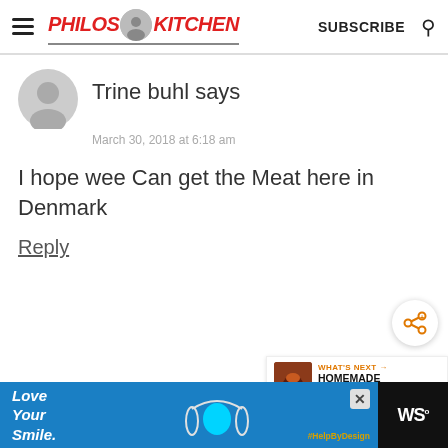Philos Kitchen — SUBSCRIBE
Trine buhl says
March 30, 2018 at 6:18 am
I hope wee Can get the Meat here in Denmark
Reply
[Figure (other): Share icon button (orange network share symbol)]
[Figure (other): What's Next widget showing food image with text HOMEMADE SUN-DRIED...]
[Figure (other): Advertisement banner: Love Your Smile, dental product ad with blue background, close button, #HelpByDesign hashtag, and dark right panel with WS logo]